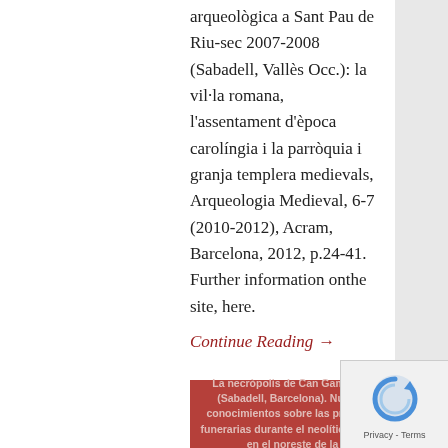arqueològica a Sant Pau de Riu-sec 2007-2008 (Sabadell, Vallès Occ.): la vil·la romana, l'assentament d'època carolíngia i la parròquia i granja templera medievals, Arqueologia Medieval, 6-7 (2010-2012), Acram, Barcelona, 2012, p.24-41.  Further information onthe site, here.
Continue Reading →
The neolithic necropolis of Can Gambús-1
January 05, 2015
by Arrago Arqueologia i Patrimoni Necròpolis, Sabadell, J. Roig, Neolític Mitjà, J.M. Coll, 2010, Can Gambús-1
1 Comment
La necròpolis de Can Gambús-1 (Sabadell, Barcelona). Nuevos conocimientos sobre las prácticas funerarias durante el neolítico medio en el noreste de la